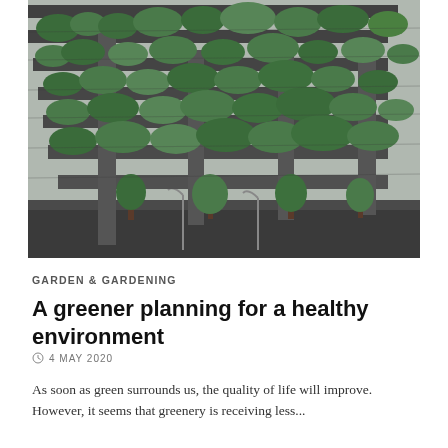[Figure (photo): Multi-story modern building with lush green plants and trees growing on each level/terrace, photographed from street level looking up, in black and white tones with green vegetation]
GARDEN & GARDENING
A greener planning for a healthy environment
4 MAY 2020
As soon as green surrounds us, the quality of life will improve. However, it seems that greenery is receiving less...